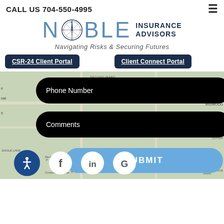CALL US 704-550-4995
[Figure (logo): Noble Insurance Advisors logo with compass rose, tagline: Navigating Risks & Securing Futures]
CSR-24 Client Portal
Client Connect Portal
Phone Number
Comments
SUBMIT
[Figure (screenshot): Map background with social media icons: accessibility, Facebook, LinkedIn, Google]